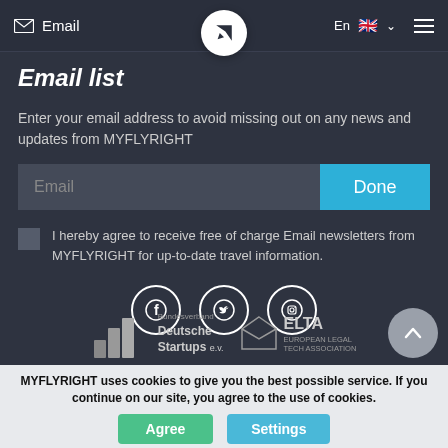Email | En | (navigation)
Email list
Enter your email address to avoid missing out on any news and updates from MYFLYRIGHT
[Figure (screenshot): Email input field with placeholder text 'Email' and a cyan 'Done' button]
I hereby agree to receive free of charge Email newsletters from MYFLYRIGHT for up-to-date travel information.
[Figure (infographic): Social media icons: Facebook, Twitter, Instagram in white circles]
[Figure (logo): Bundesverband Deutsche Startups e.V. logo and ELTA European Legal Tech Association logo]
MYFLYRIGHT uses cookies to give you the best possible service. If you continue on our site, you agree to the use of cookies.
Agree | Settings